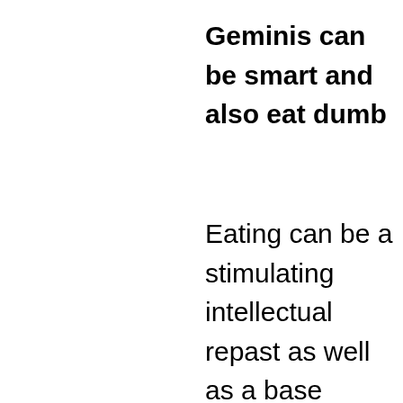Geminis can be smart and also eat dumb
Eating can be a stimulating intellectual repast as well as a base physical one. As